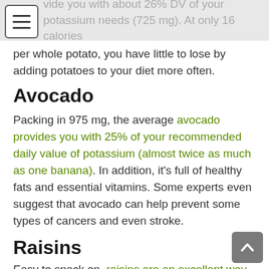vide you with about 26% DV of your potassium needs (725 mg). At only 16 calories per whole potato, you have little to lose by adding potatoes to your diet more often.
per whole potato, you have little to lose by adding potatoes to your diet more often.
Avocado
Packing in 975 mg, the average avocado provides you with 25% of your recommended daily value of potassium (almost twice as much as one banana). In addition, it’s full of healthy fats and essential vitamins. Some experts even suggest that avocado can help prevent some types of cancers and even stroke.
Raisins
Easy to snack on, raisins are an excellent way to